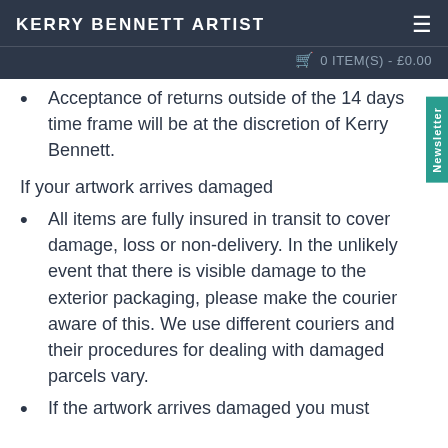KERRY BENNETT ARTIST  0 ITEM(S) - £0.00
Acceptance of returns outside of the 14 days time frame will be at the discretion of Kerry Bennett.
If your artwork arrives damaged
All items are fully insured in transit to cover damage, loss or non-delivery. In the unlikely event that there is visible damage to the exterior packaging, please make the courier aware of this. We use different couriers and their procedures for dealing with damaged parcels vary.
If the artwork arrives damaged you must